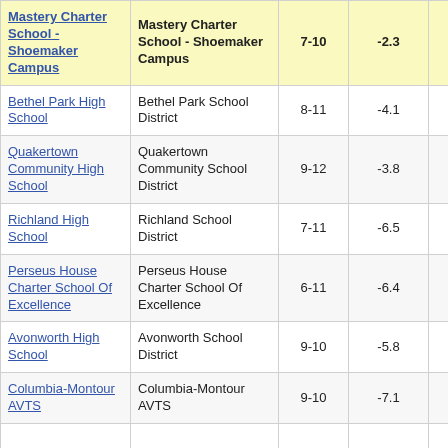| School | District/Organization | Grades | Value |  |
| --- | --- | --- | --- | --- |
| Mastery Charter School -Shoemaker Campus | Mastery Charter School - Shoemaker Campus | 7-10 | -2.3 |  |
| Bethel Park High School | Bethel Park School District | 8-11 | -4.1 |  |
| Quakertown Community High School | Quakertown Community School District | 9-12 | -3.8 |  |
| Richland High School | Richland School District | 7-11 | -6.5 |  |
| Perseus House Charter School Of Excellence | Perseus House Charter School Of Excellence | 6-11 | -6.4 |  |
| Avonworth High School | Avonworth School District | 9-10 | -5.8 |  |
| Columbia-Montour AVTS | Columbia-Montour AVTS | 9-10 | -7.1 |  |